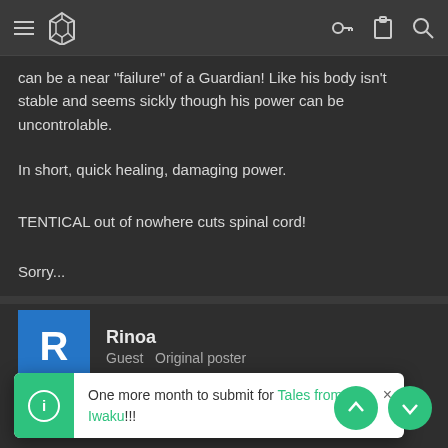Navigation bar with hamburger menu, logo icon, key icon, clipboard icon, search icon
can be a near 'failure' of a Guardian! Like his body isn't stable and seems sickly though his power can be uncontrolable.
In short, quick healing, damaging power.
TENTICAL out of nowhere cuts spinal cord!
Sorry...
Rinoa
Guest  Original poster
Oct 24, 2011    #11
Re: Guardians of Time (Plot. App. OOC)
O
One more month to submit for Tales from Iwaku!!!